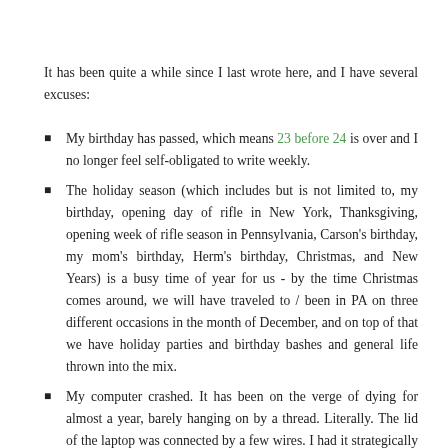It has been quite a while since I last wrote here, and I have several excuses:
My birthday has passed, which means 23 before 24 is over and I no longer feel self-obligated to write weekly.
The holiday season (which includes but is not limited to, my birthday, opening day of rifle in New York, Thanksgiving, opening week of rifle season in Pennsylvania, Carson's birthday, my mom's birthday, Herm's birthday, Christmas, and New Years) is a busy time of year for us - by the time Christmas comes around, we will have traveled to / been in PA on three different occasions in the month of December, and on top of that we have holiday parties and birthday bashes and general life thrown into the mix.
My computer crashed. It has been on the verge of dying for almost a year, barely hanging on by a thread. Literally. The lid of the laptop was connected by a few wires. I had it strategically propped